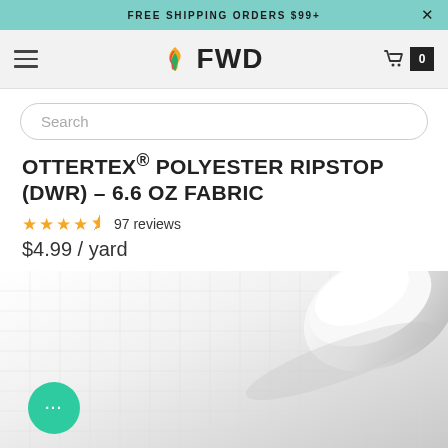FREE SHIPPING ORDERS $99+
[Figure (logo): FWD store logo with colorful flame icon]
Search
OTTERTEX® POLYESTER RIPSTOP (DWR) – 6.6 OZ FABRIC
★★★★½ 97 reviews
$4.99 / yard
[Figure (photo): White ripstop polyester fabric rolled/folded showing texture]